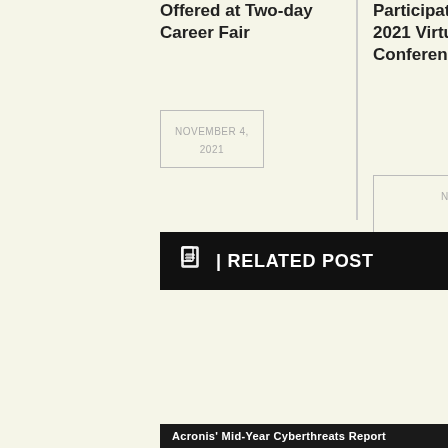Offered at Two-day Career Fair
NOVEMBER 4, 2021
Participation in the Stifel 2021 Virtual Healthcare Conference
NOVEMBER 4, 2021
RELATED POST
Acronis' Mid-Year Cyberthreats Report